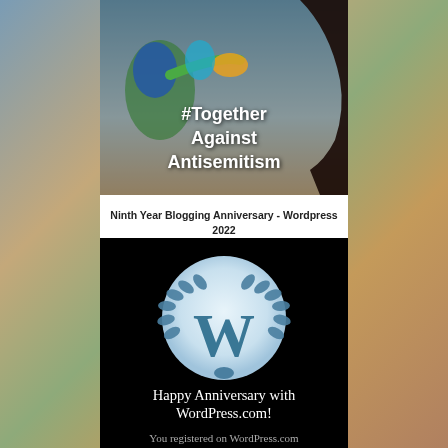[Figure (illustration): Image with colorful cartoon figures and text '#Together Against Antisemitism' in white bold text on a dark background]
Ninth Year Blogging Anniversary - Wordpress 2022
[Figure (illustration): WordPress anniversary badge on black background: circular light blue WordPress 'W' logo with laurel wreath, text 'Happy Anniversary with WordPress.com!' in white serif font below]